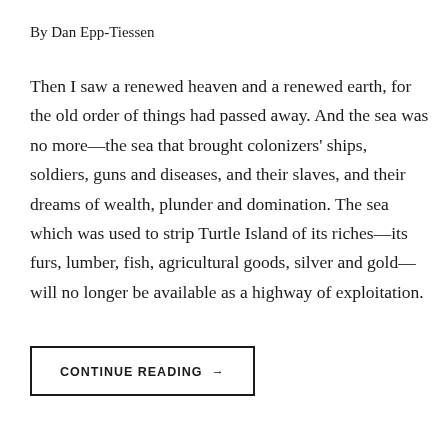By Dan Epp-Tiessen
Then I saw a renewed heaven and a renewed earth, for the old order of things had passed away. And the sea was no more—the sea that brought colonizers' ships, soldiers, guns and diseases, and their slaves, and their dreams of wealth, plunder and domination. The sea which was used to strip Turtle Island of its riches—its furs, lumber, fish, agricultural goods, silver and gold—will no longer be available as a highway of exploitation.
CONTINUE READING →